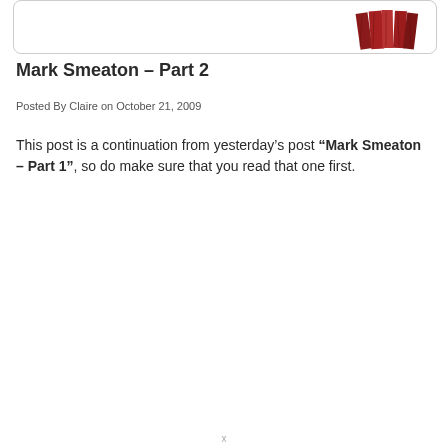[Figure (illustration): Partial view of a rounded rectangle box containing a red/maroon book or stack of books illustration in the upper right corner]
Mark Smeaton – Part 2
Posted By Claire on October 21, 2009
This post is a continuation from yesterday's post “Mark Smeaton – Part 1”, so do make sure that you read that one first.
x